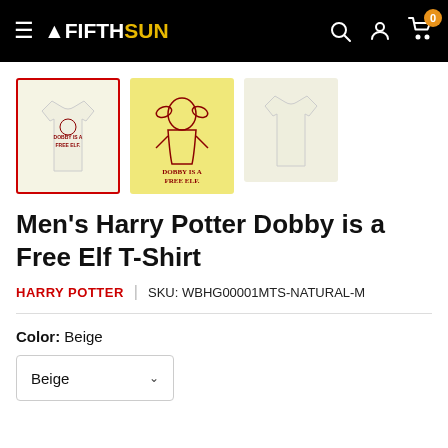Fifth Sun navigation bar with logo, search, account, and cart icons
[Figure (photo): Three product thumbnails of Men's Harry Potter Dobby is a Free Elf T-Shirt: first selected (red border), second showing Dobby graphic closeup, third showing plain back of shirt]
Men's Harry Potter Dobby is a Free Elf T-Shirt
HARRY POTTER | SKU: WBHG00001MTS-NATURAL-M
Color: Beige
Beige